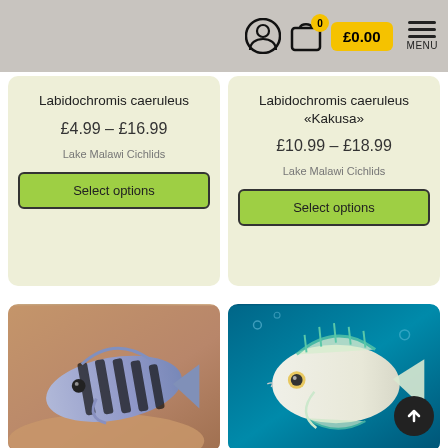£0.00 MENU
Labidochromis caeruleus
£4.99 – £16.99
Lake Malawi Cichlids
Select options
Labidochromis caeruleus «Kakusa»
£10.99 – £18.99
Lake Malawi Cichlids
Select options
[Figure (photo): Striped cichlid fish with black and white/blue vertical bars, photographed against a warm brown background]
[Figure (photo): White/pale cichlid fish with teal-tipped fins, photographed against a teal/blue aquatic background]